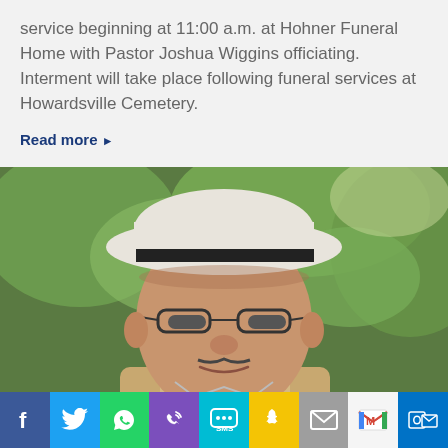service beginning at 11:00 a.m. at Hohner Funeral Home with Pastor Joshua Wiggins officiating. Interment will take place following funeral services at Howardsville Cemetery.
Read more ▶
[Figure (photo): Elderly man wearing a white fedora hat with a dark band, glasses, and casual clothing, photographed outdoors with green trees in the background.]
[Figure (infographic): Social media sharing bar with icons for Facebook, Twitter, WhatsApp, Phone, SMS, Snapchat, Email, Gmail, and Outlook.]